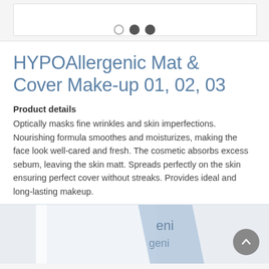[Figure (screenshot): Carousel image placeholder with three navigation dots (one empty, two filled) at the bottom center]
HYPOAllergenic Mat & Cover Make-up 01, 02, 03
Product details
Optically masks fine wrinkles and skin imperfections. Nourishing formula smoothes and moisturizes, making the face look well-cared and fresh. The cosmetic absorbs excess sebum, leaving the skin matt. Spreads perfectly on the skin ensuring perfect cover without streaks. Provides ideal and long-lasting makeup.
[Figure (photo): Bottom portion showing a product tube with brand text visible (eni/genic), partially cropped]